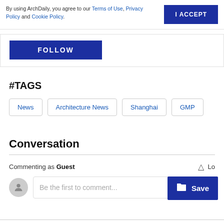By using ArchDaily, you agree to our Terms of Use, Privacy Policy and Cookie Policy.
I ACCEPT
FOLLOW
#TAGS
News
Architecture News
Shanghai
GMP
Conversation
Commenting as Guest
Be the first to comment...
Save